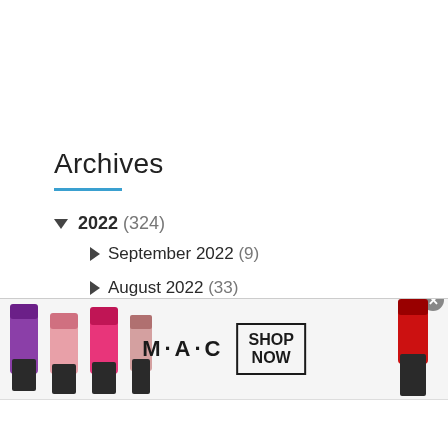Archives
▼ 2022 (324)
► September 2022 (9)
► August 2022 (33)
► July 2022 (51)
► June 2022 (49)
[Figure (photo): MAC Cosmetics advertisement banner showing lipsticks in purple, pink, and red colors with M·A·C logo and SHOP NOW call-to-action box]